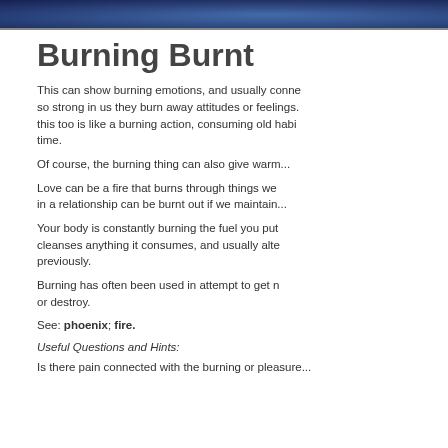[Figure (photo): Dark blue/space themed banner image at top of page]
Burning Burnt
This can show burning emotions, and usually connects to feelings so strong in us they burn away attitudes or feelings. Growth this too is like a burning action, consuming old habits over time.
Of course, the burning thing can also give warmth.
Love can be a fire that burns through things we cling to. Being in a relationship can be burnt out if we maintain...
Your body is constantly burning the fuel you put into it. Fire cleanses anything it consumes, and usually alters what was previously.
Burning has often been used in attempt to get rid of, cleanse, or destroy.
See: phoenix; fire.
Useful Questions and Hints:
Is there pain connected with the burning or pleasure...